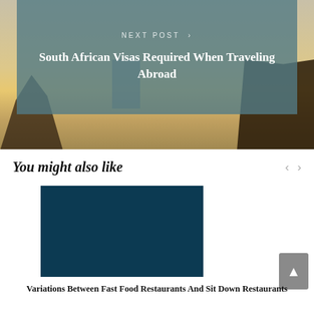[Figure (photo): Background photo of a sunset with palm trees and a building silhouette, partially overlaid with a teal/slate colored semi-transparent banner reading NEXT POST and a title.]
NEXT POST >
South African Visas Required When Traveling Abroad
You might also like
[Figure (photo): Dark navy/teal colored rectangular image placeholder for a related article thumbnail.]
Variations Between Fast Food Restaurants And Sit Down Restaurants